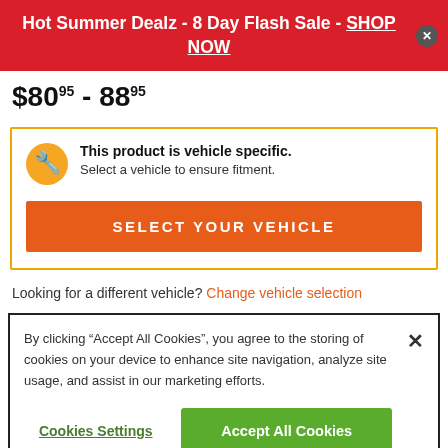Hot Summer Dealz - 8 Day Flash Sale - SHOP NOW
$80.95 - 88.95
This product is vehicle specific. Select a vehicle to ensure fitment.
SELECT YOUR VEHICLE
Looking for a different vehicle? Change vehicle selection
By clicking “Accept All Cookies”, you agree to the storing of cookies on your device to enhance site navigation, analyze site usage, and assist in our marketing efforts.
Cookies Settings
Accept All Cookies